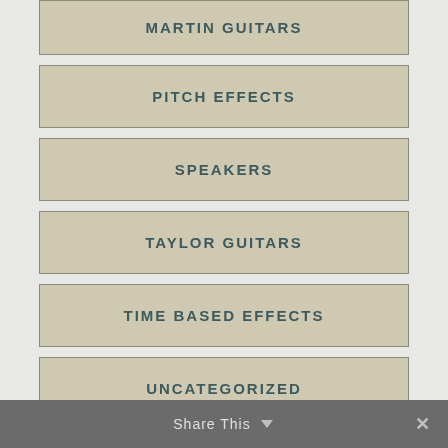MARTIN GUITARS
PITCH EFFECTS
SPEAKERS
TAYLOR GUITARS
TIME BASED EFFECTS
UNCATEGORIZED
Share This ∨  ✕